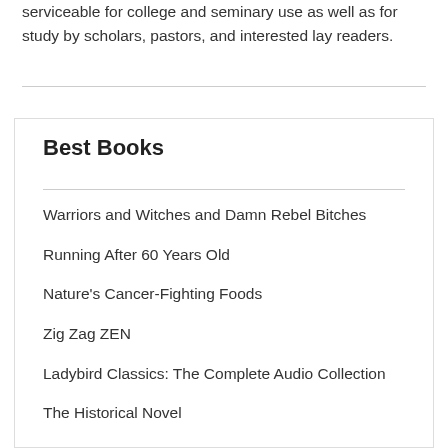serviceable for college and seminary use as well as for study by scholars, pastors, and interested lay readers.
Best Books
Warriors and Witches and Damn Rebel Bitches
Running After 60 Years Old
Nature's Cancer-Fighting Foods
Zig Zag ZEN
Ladybird Classics: The Complete Audio Collection
The Historical Novel
THE CONTEMPORARY BUTTERCREAM BIBL